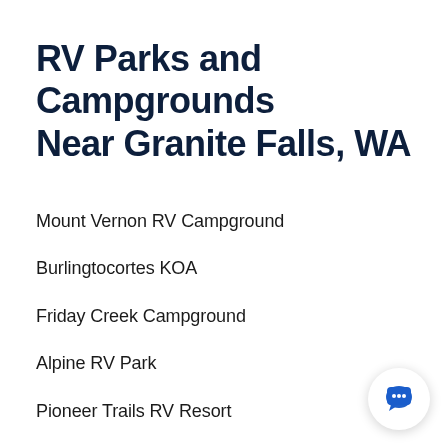RV Parks and Campgrounds Near Granite Falls, WA
Mount Vernon RV Campground
Burlingtocortes KOA
Friday Creek Campground
Alpine RV Park
Pioneer Trails RV Resort
Fidalgo Bay RV Resort
North Whidbey RV Park
La Conner RV & Camping Resort
Blake's Skagit Resort & Marina